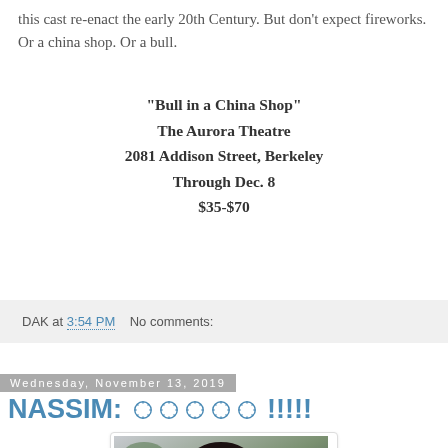this cast re-enact the early 20th Century. But don't expect fireworks. Or a china shop. Or a bull.
"Bull in a China Shop"
The Aurora Theatre
2081 Addison Street, Berkeley
Through Dec. 8
$35-$70
DAK at 3:54 PM    No comments:
Wednesday, November 13, 2019
NASSIM: ☆ ☆ ☆ ☆ ☆ !!!!!
[Figure (photo): Portrait photo of a man with dark hair and glasses wearing a dark jacket, with greenery in the background]